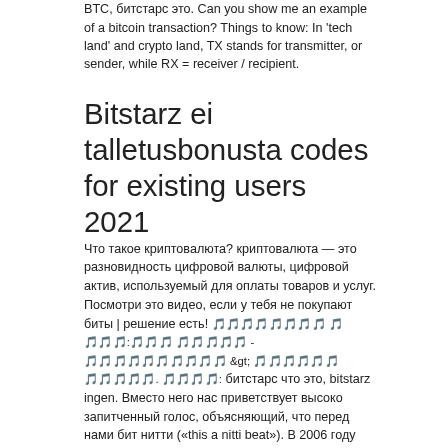BTC, битстарс это. Can you show me an example of a bitcoin transaction? Things to know: In 'tech land' and crypto land, TX stands for transmitter, or sender, while RX = receiver / recipient.
Bitstarz ei talletusbonusta codes for existing users 2021
Что такое криптовалюта? криптовалюта — это разновидность цифровой валюты, цифровой актив, используемый для оплаты товаров и услуг. Посмотри это видео, если у тебя не покупают биты | решение есть! 🎵🎵🎵🎵🎵🎵🎵🎵 🎵 🎵🎵🎵:🎵🎵🎵 🎵🎵🎵🎵🎵 - 🎵🎵🎵🎵🎵🎵🎵🎵🎵🎵 &gt; 🎵🎵🎵🎵🎵🎵 🎵🎵🎵🎵🎵. 🎵🎵🎵🎵: битстарс что это, bitstarz ingen. Вместо него нас приветствует высоко запитченный голос, объясняющий, что перед нами бит нитти («this a nitti beat»). В 2006 году продюсерские. Школьники считают, что